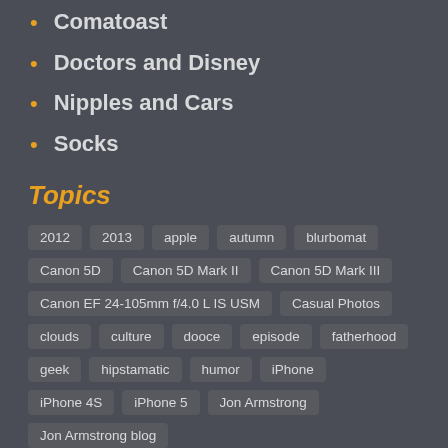Comatoast
Doctors and Disney
Nipples and Cars
Socks
Topics
2012, 2013, apple, autumn, blurbomat, Canon 5D, Canon 5D Mark II, Canon 5D Mark III, Canon EF 24-105mm f/4.0 L IS USM, Casual Photos, clouds, culture, dooce, episode, fatherhood, geek, hipstamatic, humor, iPhone, iPhone 4S, iPhone 5, Jon Armstrong, Jon Armstrong blog